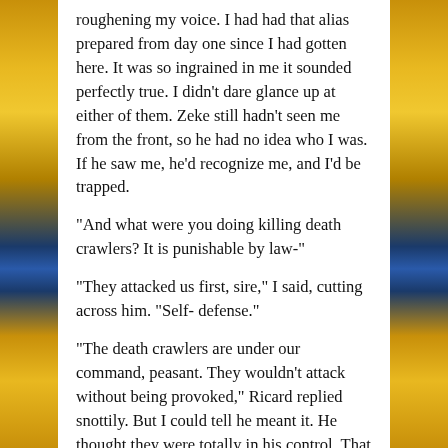roughening my voice. I had had that alias prepared from day one since I had gotten here. It was so ingrained in me it sounded perfectly true. I didn't dare glance up at either of them. Zeke still hadn't seen me from the front, so he had no idea who I was. If he saw me, he'd recognize me, and I'd be trapped.
“And what were you doing killing death crawlers? It is punishable by law-“
“They attacked us first, sire,” I said, cutting across him. “Self- defense.”
“The death crawlers are under our command, peasant. They wouldn’t attack without being provoked,” Ricard replied snottily. But I could tell he meant it. He thought they were totally in his control. That wasn’t good.
“Do you really think I’d go attacking a scourge of crawlers for kicks?!” I snapped. “They probably